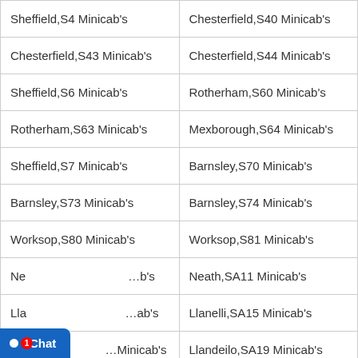| Sheffield,S4 Minicab's | Chesterfield,S40 Minicab's |
| Chesterfield,S43 Minicab's | Chesterfield,S44 Minicab's |
| Sheffield,S6 Minicab's | Rotherham,S60 Minicab's |
| Rotherham,S63 Minicab's | Mexborough,S64 Minicab's |
| Sheffield,S7 Minicab's | Barnsley,S70 Minicab's |
| Barnsley,S73 Minicab's | Barnsley,S74 Minicab's |
| Worksop,S80 Minicab's | Worksop,S81 Minicab's |
| Ne[ath,SA10 Minicab's] | Neath,SA11 Minicab's |
| Lla[nelli,SA14 Minicab's] | Llanelli,SA15 Minicab's |
| Am[manford,SA18 Minicab's] | Llandeilo,SA19 Minicab's |
| Sw[ansea,SA3 Minicab's] | Carmarthen,SA31 Minicab's |
| [Narberth,]SA34 Minicab's | Llanfyrnach,SA35 Minicab's |